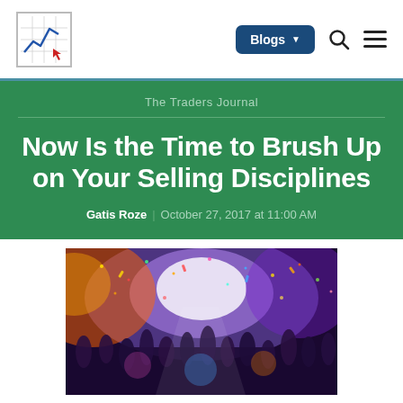The Traders Journal
Now Is the Time to Brush Up on Your Selling Disciplines
Gatis Roze | October 27, 2017 at 11:00 AM
[Figure (photo): Colorful crowd photo with confetti and bright stage lights at a celebration event]